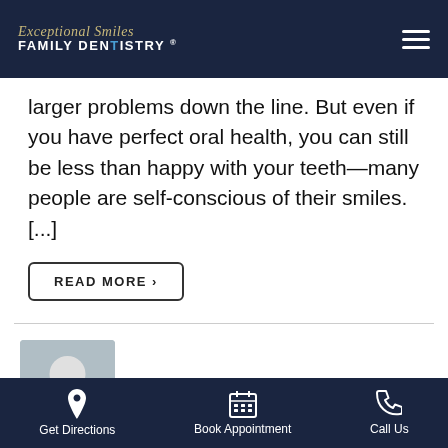Exceptional Smiles Family Dentistry®
larger problems down the line. But even if you have perfect oral health, you can still be less than happy with your teeth—many people are self-conscious of their smiles. [...]
READ MORE >
Romelyn Boyd
[Figure (photo): Close-up photo of teeth and lips]
8 Reasons
Get Directions   Book Appointment   Call Us